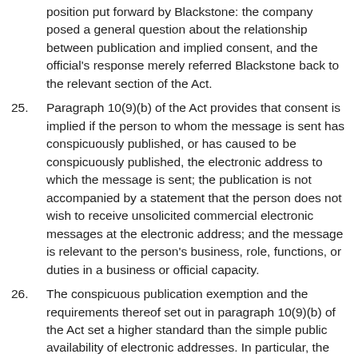This exchange of emails does not support the position put forward by Blackstone: the company posed a general question about the relationship between publication and implied consent, and the official's response merely referred Blackstone back to the relevant section of the Act.
25. Paragraph 10(9)(b) of the Act provides that consent is implied if the person to whom the message is sent has conspicuously published, or has caused to be conspicuously published, the electronic address to which the message is sent; the publication is not accompanied by a statement that the person does not wish to receive unsolicited commercial electronic messages at the electronic address; and the message is relevant to the person's business, role, functions, or duties in a business or official capacity.
26. The conspicuous publication exemption and the requirements thereof set out in paragraph 10(9)(b) of the Act set a higher standard than the simple public availability of electronic addresses. In particular, the